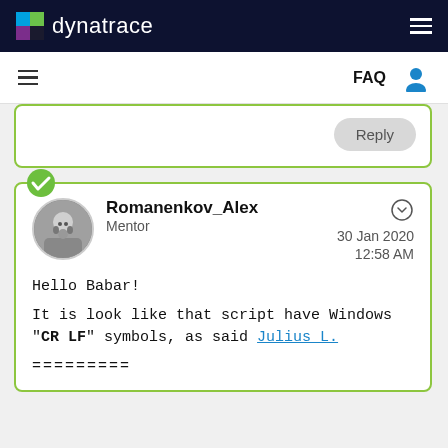dynatrace
FAQ
Reply
Romanenkov_Alex
Mentor
30 Jan 2020
12:58 AM
Hello Babar!
It is look like that script have Windows "CR LF" symbols, as said Julius L.
=========